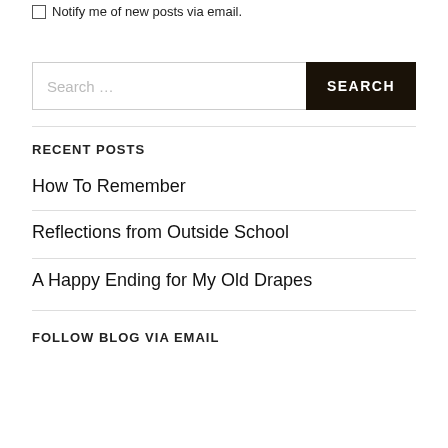Notify me of new posts via email.
Search …
RECENT POSTS
How To Remember
Reflections from Outside School
A Happy Ending for My Old Drapes
FOLLOW BLOG VIA EMAIL